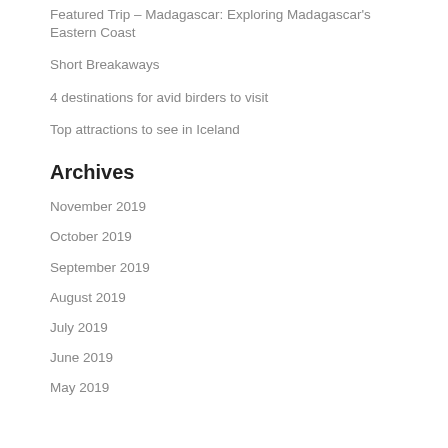Featured Trip – Madagascar: Exploring Madagascar's Eastern Coast
Short Breakaways
4 destinations for avid birders to visit
Top attractions to see in Iceland
Archives
November 2019
October 2019
September 2019
August 2019
July 2019
June 2019
May 2019